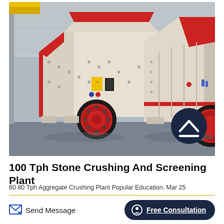[Figure (photo): Two large white and red industrial impact crushers / stone crushing machines inside a factory warehouse. The machines have prominent red flywheel discs and red trim. Background shows a grey industrial ceiling with a yellow crane beam visible top-left. A dark navy scroll-to-top button with white chevron is overlaid bottom-right of the image.]
100 Tph Stone Crushing And Screening Plant
60 80 Tph Aggregate Crushing Plant Popular Education. Mar 25
Send Message
Free Consultation